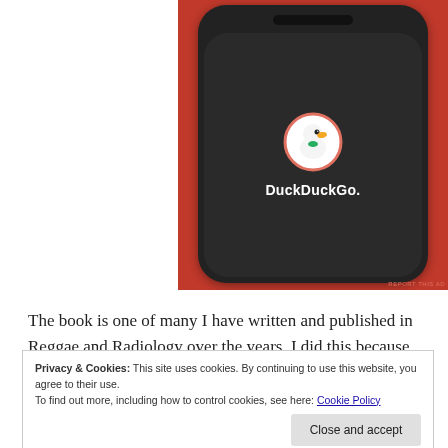[Figure (photo): DuckDuckGo app on a smartphone against an orange/red background. The phone screen shows the DuckDuckGo duck logo and the text 'DuckDuckGo.' with a 'REPORT THIS AD' link in the lower right corner.]
The book is one of many I have written and published in Reggae and Radiology over the years. I did this because so many people began to tell lies and falsehoods by writing books spreading falsehoods about us, which I had to step in to set the records.
Privacy & Cookies: This site uses cookies. By continuing to use this website, you agree to their use.
To find out more, including how to control cookies, see here: Cookie Policy
Close and accept
in their graves. This is what they are doing to Bob